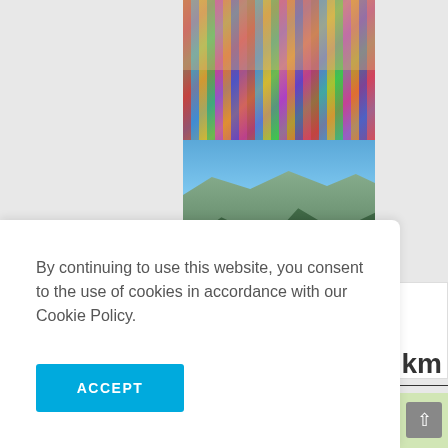[Figure (photo): Colorful market goods (textiles, incense sticks, various merchandise) arranged densely at a market stall]
[Figure (photo): Mountain landscape with green forested hills, rocky peaks, and clear blue sky]
By continuing to use this website, you consent to the use of cookies in accordance with our Cookie Policy.
ACCEPT